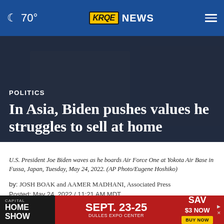🌙 70° | KRQE NEWS
POLITICS
In Asia, Biden pushes values he struggles to sell at home
U.S. President Joe Biden waves as he boards Air Force One at Yokota Air Base in Fussa, Japan, Tuesday, May 24, 2022. (AP Photo/Eugene Hoshiko)
by: JOSH BOAK and AAMER MADHANI, Associated Press
Posted: May 24, 2022 / 11:21 AM MDT
Updated: May 24, 2022 / 12:54 PM MDT
[Figure (infographic): Ad banner: Capital Home Show, Sept. 23-25, Dulles Expo Center. Save $3 Now. Buy Now button.]